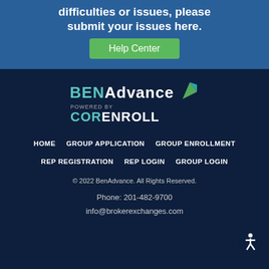difficulties or issues, please submit your issues here.
Help Center
[Figure (logo): BENAdvance logo with teal and white text and a green/teal arrow icon, with POWERED BY CORENROLL below]
HOME
GROUP APPLICATION
GROUP ENROLLMENT
REP REGISTRATION
REP LOGIN
GROUP LOGIN
© 2022 BenAdvance. All Rights Reserved.
Phone: 201-482-9700
info@brokerexchanges.com